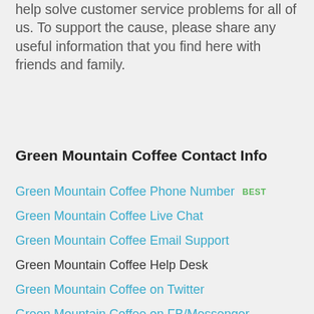help solve customer service problems for all of us. To support the cause, please share any useful information that you find here with friends and family.
Green Mountain Coffee Contact Info
Green Mountain Coffee Phone Number  BEST
Green Mountain Coffee Live Chat
Green Mountain Coffee Email Support
Green Mountain Coffee Help Desk
Green Mountain Coffee on Twitter
Green Mountain Coffee on FB/Messenger